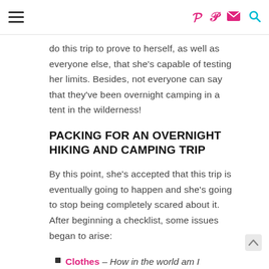hamburger menu, Pinterest icon, mail icon, search icon
do this trip to prove to herself, as well as everyone else, that she's capable of testing her limits. Besides, not everyone can say that they've been overnight camping in a tent in the wilderness!
PACKING FOR AN OVERNIGHT HIKING AND CAMPING TRIP
By this point, she's accepted that this trip is eventually going to happen and she's going to stop being completely scared about it. After beginning a checklist, some issues began to arise:
Clothes – How in the world am I